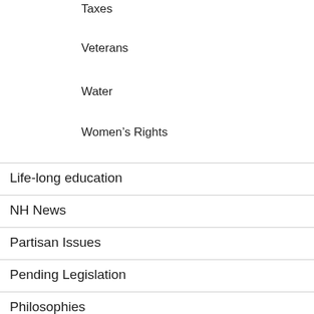Taxes
Veterans
Water
Women's Rights
Life-long education
NH News
Partisan Issues
Pending Legislation
Philosophies
Public Service Announcement
Rights & Democracy
Salem News